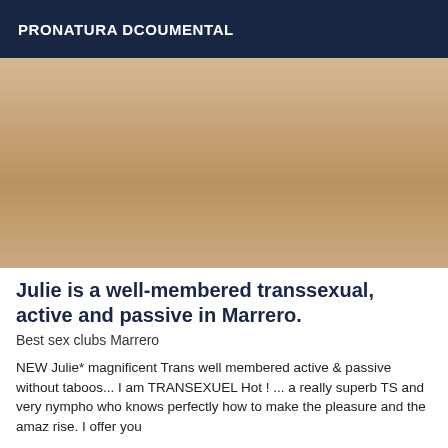PRONATURA DCOUMENTAL
[Figure (photo): Photograph of a person's lower torso and legs in an indoor setting]
Julie is a well-membered transsexual, active and passive in Marrero.
Best sex clubs Marrero
NEW Julie* magnificent Trans well membered active & passive without taboos... I am TRANSEXUEL Hot ! ... a really superb TS and very nympho who knows perfectly how to make the pleasure and the amaz rise. I offer you